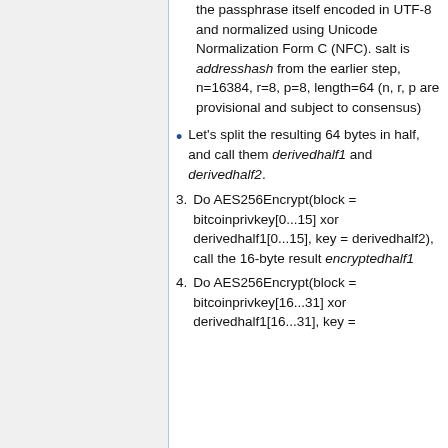Parameters: passphrase is the passphrase itself encoded in UTF-8 and normalized using Unicode Normalization Form C (NFC). salt is addresshash from the earlier step, n=16384, r=8, p=8, length=64 (n, r, p are provisional and subject to consensus)
Let's split the resulting 64 bytes in half, and call them derivedhalf1 and derivedhalf2.
Do AES256Encrypt(block = bitcoinprivkey[0...15] xor derivedhalf1[0...15], key = derivedhalf2), call the 16-byte result encryptedhalf1
Do AES256Encrypt(block = bitcoinprivkey[16...31] xor derivedhalf1[16...31], key =